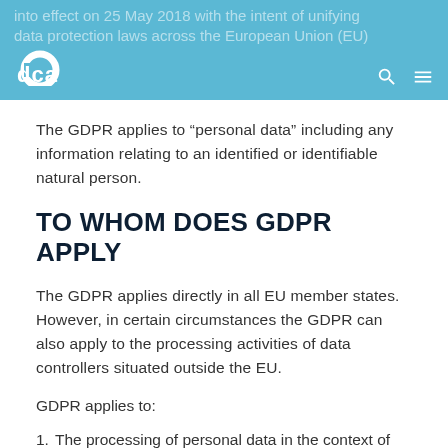into effect on 25 May 2018 with the intent of unifying data protection laws across the European Union (EU)
The GDPR applies to “personal data” including any information relating to an identified or identifiable natural person.
TO WHOM DOES GDPR APPLY
The GDPR applies directly in all EU member states. However, in certain circumstances the GDPR can also apply to the processing activities of data controllers situated outside the EU.
GDPR applies to:
1. The processing of personal data in the context of the